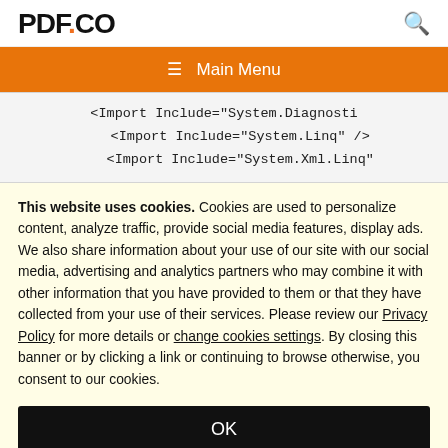PDF.CO
☰  Main Menu
<Import Include="System.Diagnosti
    <Import Include="System.Linq" />
    <Import Include="System.Xml.Linq"
This website uses cookies. Cookies are used to personalize content, analyze traffic, provide social media features, display ads. We also share information about your use of our site with our social media, advertising and analytics partners who may combine it with other information that you have provided to them or that they have collected from your use of their services. Please review our Privacy Policy for more details or change cookies settings. By closing this banner or by clicking a link or continuing to browse otherwise, you consent to our cookies.
OK